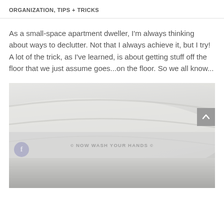ORGANIZATION, TIPS + TRICKS
As a small-space apartment dweller, I'm always thinking about ways to declutter. Not that I always achieve it, but I try! A lot of the trick, as I've learned, is about getting stuff off the floor that we just assume goes...on the floor. So we all know...
[Figure (photo): Close-up photo of white ceramic plates or dishes stacked, with a watermark reading '© NOW WASH YOUR HANDS ©' overlaid on a semi-transparent grey bar, and a second partial photo below showing more dishes/items in grey tones. A grey scroll-to-top button with an up arrow is visible on the right side.]